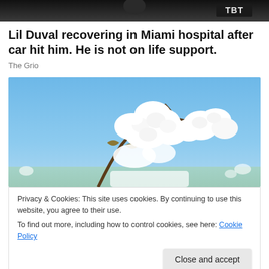[Figure (photo): Partial top image cropped, appears to show a person with dark background and text overlay]
Lil Duval recovering in Miami hospital after car hit him. He is not on life support.
The Grio
[Figure (photo): Close-up photograph of white cotton bolls on a branch against a blue sky background]
Privacy & Cookies: This site uses cookies. By continuing to use this website, you agree to their use.
To find out more, including how to control cookies, see here: Cookie Policy
cotton-picking project in elementary school